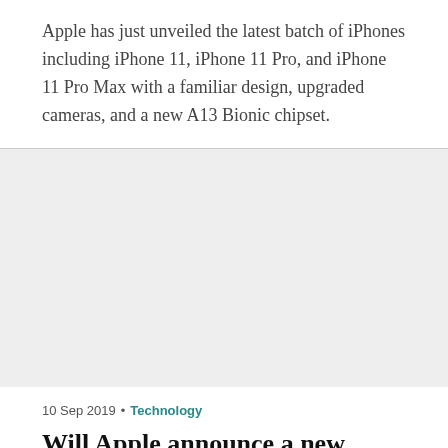Apple has just unveiled the latest batch of iPhones including iPhone 11, iPhone 11 Pro, and iPhone 11 Pro Max with a familiar design, upgraded cameras, and a new A13 Bionic chipset.
[Figure (other): Gray placeholder image area]
10 Sep 2019 • Technology
Will Apple announce a new Apple TV today?
In hours from now, Apple is expected to unveil a clutch of new...